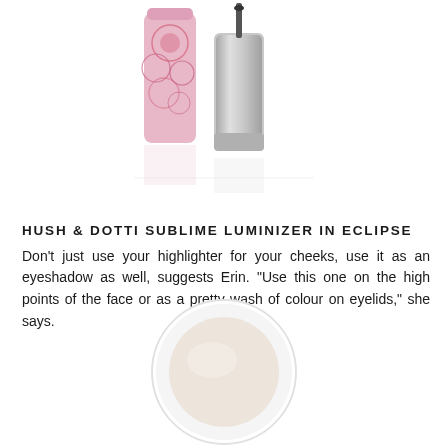[Figure (photo): Two cosmetic product tubes - one with pink floral pattern packaging and one silver metallic tube with a brush applicator, shown with their reflections below]
HUSH & DOTTI SUBLIME LUMINIZER IN ECLIPSE
Don't just use your highlighter for your cheeks, use it as an eyeshadow as well, suggests Erin. “Use this one on the high points of the face or as a pretty wash of colour on eyelids,” she says.
[Figure (photo): A round white compact container with a cream/ivory colored luminizer product inside, shown from above]